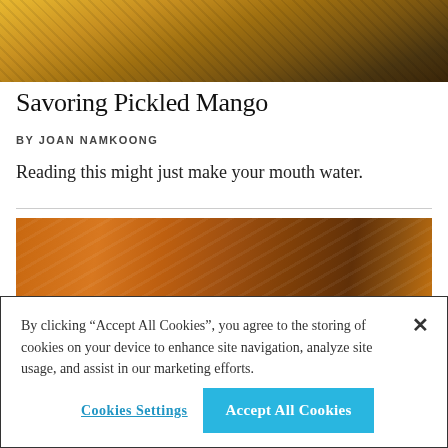[Figure (photo): Partial photo showing yellow/golden fabric or food item, cropped at top]
Savoring Pickled Mango
BY JOAN NAMKOONG
Reading this might just make your mouth water.
[Figure (photo): Photo of grilled or roasted food items, brownish-orange tones, herbs visible]
By clicking "Accept All Cookies", you agree to the storing of cookies on your device to enhance site navigation, analyze site usage, and assist in our marketing efforts.
Cookies Settings
Accept All Cookies